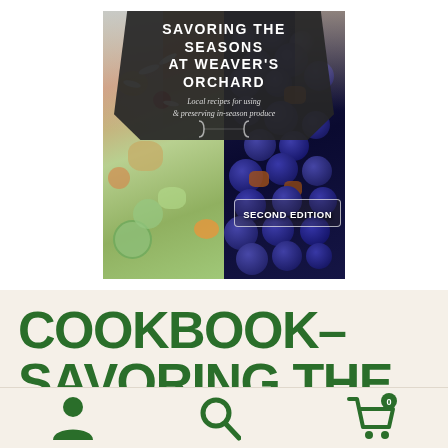[Figure (photo): Book cover for 'Savoring the Seasons at Weaver's Orchard – Local recipes for using & preserving in-season produce, Second Edition'. Cover shows a split image: left side has a colorful fruit salad with almonds, right side has dark blueberries mixed with chopped fruit. A dark chalkboard-style banner at the top displays the title.]
COOKBOOK– SAVORING THE
[Figure (other): Bottom navigation bar with three icons: user/person icon, search/magnifying glass icon, and shopping cart icon with a notification badge showing a number.]